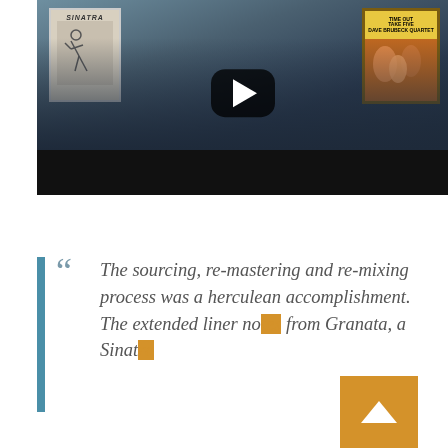[Figure (screenshot): Video thumbnail/screenshot of a video player showing a man in a dark sweater sitting in front of two music posters on a wall: a Sinatra poster on the left and a 'Take Five / Dave Brubeck Quartet' album cover on the right. A YouTube-style play button (dark rounded rectangle with white triangle) is overlaid in the center. The bottom of the video has a black bar.]
“ The sourcing, re-mastering and re-mixing process was a herculean accomplishment. The extended liner no[tes] from Granata, a Sinat[ra]